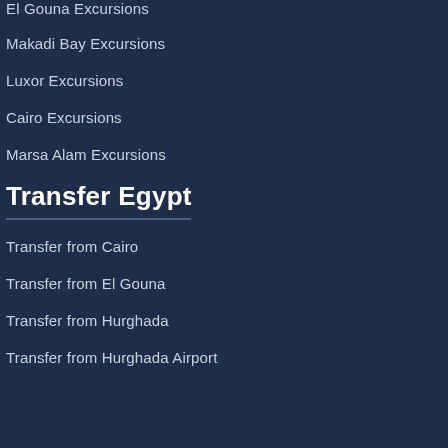El Gouna Excursions
Makadi Bay Excursions
Luxor Excursions
Cairo Excursions
Marsa Alam Excursions
Transfer Egypt
Transfer from Cairo
Transfer from El Gouna
Transfer from Hurghada
Transfer from Hurghada Airport